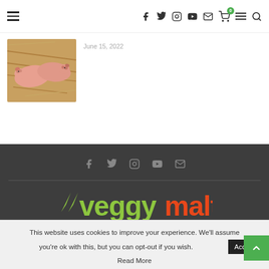Navigation bar with hamburger menu, social icons (facebook, twitter, instagram, youtube, email), cart with badge 0, menu, search
[Figure (photo): Photo of piglets lying on straw/hay bedding]
June 15, 2022
Footer with social icons: facebook, twitter, instagram, youtube, email. VeggyMalta logo.
This website uses cookies to improve your experience. We'll assume you're ok with this, but you can opt-out if you wish.
Read More